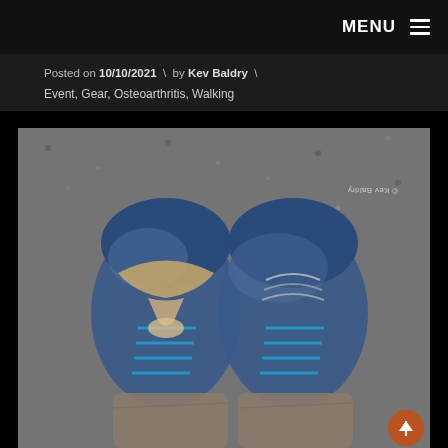MENU ≡
Posted on 10/10/2021 \ by Kev Baldry \
Event, Gear, Osteoarthritis, Walking
[Figure (photo): Overhead view of two worn blue hiking shoes/trainers on a tarmac surface. The left shoe has a broken lace repaired with a knotted piece of rope/twine. The right shoe has mismatched laces including what appears to be a rope or cord. Grey trouser legs visible above the shoes. Copyright watermark '© Kev Baldry' appears rotated in the top right area of the image.]